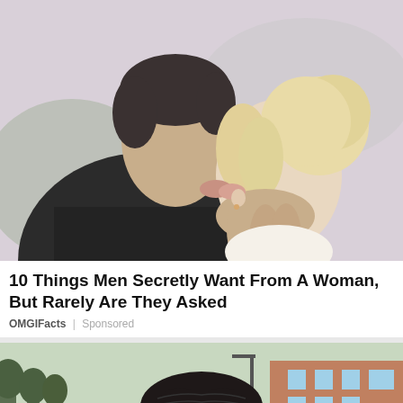[Figure (photo): A man and a woman kissing closely, man has dark hair wearing black shirt, woman has platinum blonde hair in a bun, soft blurred outdoor background]
10 Things Men Secretly Want From A Woman, But Rarely Are They Asked
OMGIFacts | Sponsored
[Figure (photo): A man with dark slicked-back hair visible from the top of the frame, outdoor background with trees and a brick building]